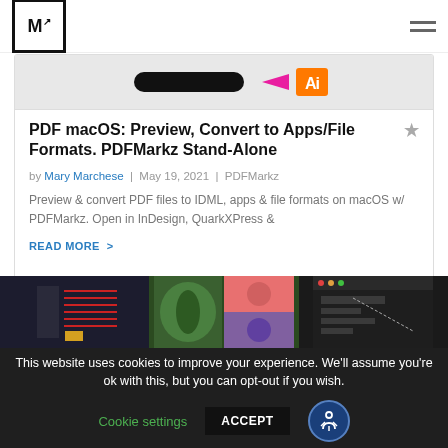M↗ [logo] [hamburger menu]
[Figure (screenshot): Dark pill shape with pink arrow pointing to Adobe Illustrator AI logo on orange background]
PDF macOS: Preview, Convert to Apps/File Formats. PDFMarkz Stand-Alone
by Mary Marchese | May 19, 2021 | PDFMarkz
Preview & convert PDF files to IDML, apps & file formats on macOS w/ PDFMarkz. Open in InDesign, QuarkXPress &
READ MORE >
[Figure (screenshot): Three screenshot panels showing dark PDF editing interfaces]
This website uses cookies to improve your experience. We'll assume you're ok with this, but you can opt-out if you wish.
Cookie settings   ACCEPT